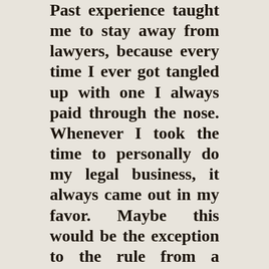Past experience taught me to stay away from lawyers, because every time I ever got tangled up with one I always paid through the nose. Whenever I took the time to personally do my legal business, it always came out in my favor. Maybe this would be the exception to the rule from a financial standpoint.
On August 10 I wrote a letter to